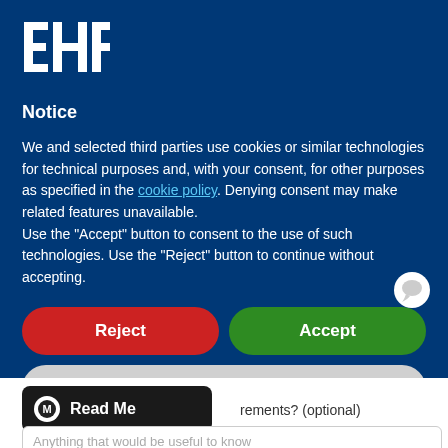[Figure (logo): EHF logo — white stylized letters E, H, F on dark blue background]
Notice
We and selected third parties use cookies or similar technologies for technical purposes and, with your consent, for other purposes as specified in the cookie policy. Denying consent may make related features unavailable.
Use the "Accept" button to consent to the use of such technologies. Use the "Reject" button to continue without accepting.
Reject
Accept
Learn more and customize
Read Me
Any additional requirements? (optional)
Anything that would be useful to know